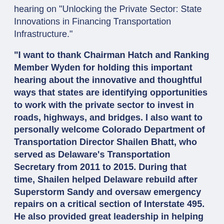hearing on "Unlocking the Private Sector: State Innovations in Financing Transportation Infrastructure."
"I want to thank Chairman Hatch and Ranking Member Wyden for holding this important hearing about the innovative and thoughtful ways that states are identifying opportunities to work with the private sector to invest in roads, highways, and bridges. I also want to personally welcome Colorado Department of Transportation Director Shailen Bhatt, who served as Delaware's Transportation Secretary from 2011 to 2015. During that time, Shailen helped Delaware rebuild after Superstorm Sandy and oversaw emergency repairs on a critical section of Interstate 495. He also provided great leadership in helping